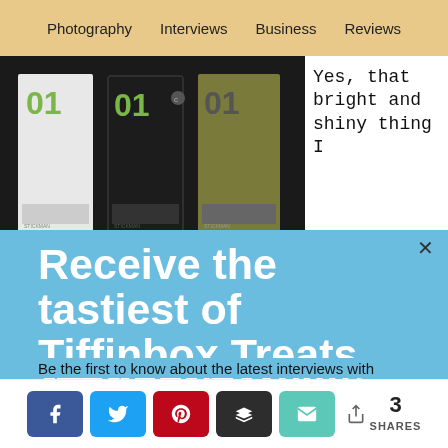Photography  Interviews  Business  Reviews
[Figure (photo): Product photo showing three rectangular boxes labeled '01' in white, black, and olive/green colors on a dark background]
Yes, that bright and shiny thing I
Receive the tastiest of Tiffinbox Treats. Yum!!
Be the first to know about the latest interviews with industry leaders who will help you make an impact.
3 SHARES